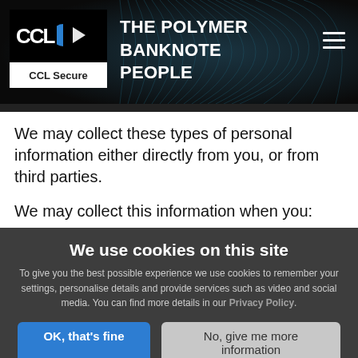[Figure (logo): CCL Secure logo with blue circle and white diamond shape on black background, white bar below with 'CCL Secure' text]
THE POLYMER BANKNOTE PEOPLE
We may collect these types of personal information either directly from you, or from third parties.
We may collect this information when you:
We use cookies on this site
To give you the best possible experience we use cookies to remember your settings, personalise details and provide services such as video and social media. You can find more details in our Privacy Policy.
OK, that's fine   No, give me more information